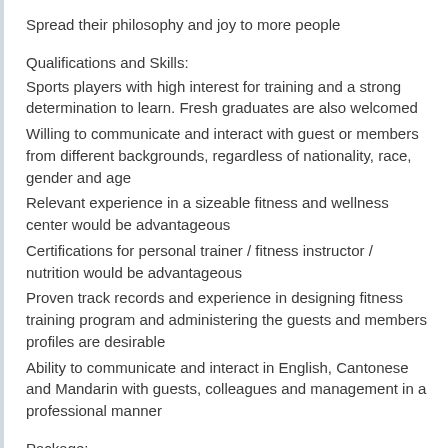Spread their philosophy and joy to more people
Qualifications and Skills:
Sports players with high interest for training and a strong determination to learn. Fresh graduates are also welcomed
Willing to communicate and interact with guest or members from different backgrounds, regardless of nationality, race, gender and age
Relevant experience in a sizeable fitness and wellness center would be advantageous
Certifications for personal trainer / fitness instructor / nutrition would be advantageous
Proven track records and experience in designing fitness training program and administering the guests and members profiles are desirable
Ability to communicate and interact in English, Cantonese and Mandarin with guests, colleagues and management in a professional manner
Package:
13~15K + commision